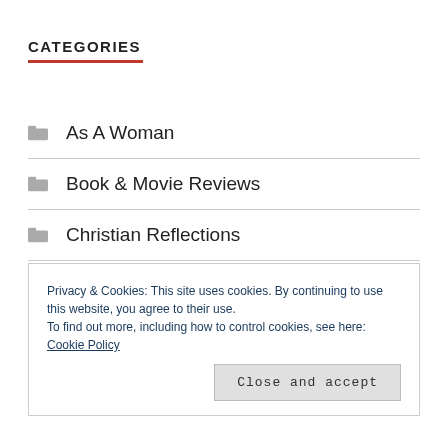CATEGORIES
As A Woman
Book & Movie Reviews
Christian Reflections
Christian Women
Demystifying Alcohol
Privacy & Cookies: This site uses cookies. By continuing to use this website, you agree to their use. To find out more, including how to control cookies, see here: Cookie Policy
Close and accept